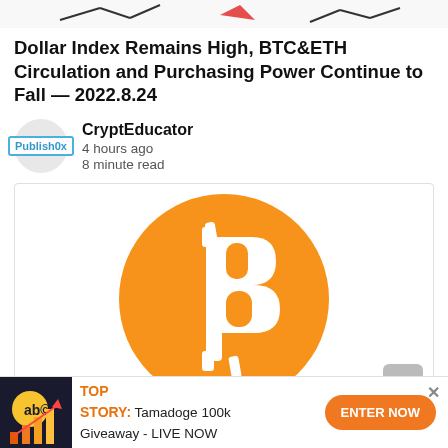[Figure (illustration): Top strip showing partial charts/graphs cropped at top of page]
Dollar Index Remains High, BTC&ETH Circulation and Purchasing Power Continue to Fall — 2022.8.24
CryptEducator
4 hours ago
8 minute read
[Figure (logo): Bitcoin logo — orange circle with white Bitcoin B symbol]
TOP STORY: Tamadoge 100k Giveaway - LIVE NOW  ENTER NOW